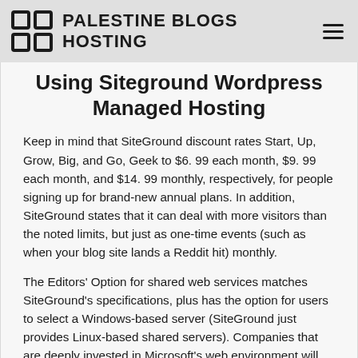PALESTINE BLOGS HOSTING
Using Siteground Wordpress Managed Hosting
Keep in mind that SiteGround discount rates Start, Up, Grow, Big, and Go, Geek to $6. 99 each month, $9. 99 each month, and $14. 99 monthly, respectively, for people signing up for brand-new annual plans. In addition, SiteGround states that it can deal with more visitors than the noted limits, but just as one-time events (such as when your blog site lands a Reddit hit) monthly.
The Editors' Option for shared web services matches SiteGround's specifications, plus has the option for users to select a Windows-based server (SiteGround just provides Linux-based shared servers). Companies that are deeply invested in Microsoft's web environment will discover Host, Gator's Windows servers attractive.